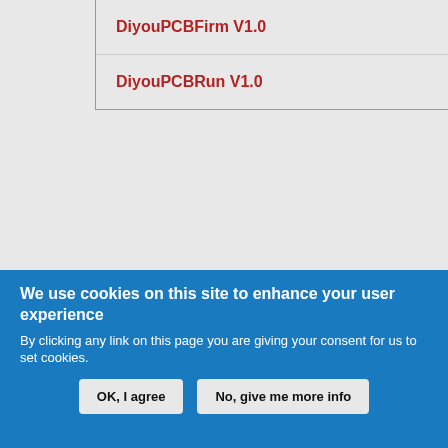| DiyouPCBFirm V1.0 |
| DiyouPCBRun V1.0 |
To download files of the parts, please go to the download page.
Home
We use cookies on this site to enhance your user experience
By clicking any link on this page you are giving your consent for us to set cookies.
OK, I agree   No, give me more info